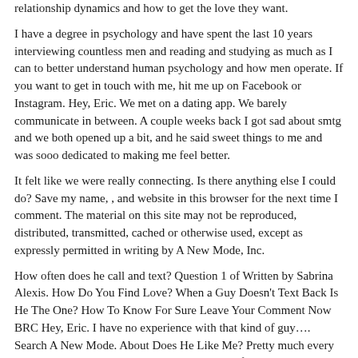relationship dynamics and how to get the love they want.
I have a degree in psychology and have spent the last 10 years interviewing countless men and reading and studying as much as I can to better understand human psychology and how men operate. If you want to get in touch with me, hit me up on Facebook or Instagram. Hey, Eric. We met on a dating app. We barely communicate in between. A couple weeks back I got sad about smtg and we both opened up a bit, and he said sweet things to me and was sooo dedicated to making me feel better.
It felt like we were really connecting. Is there anything else I could do? Save my name, , and website in this browser for the next time I comment. The material on this site may not be reproduced, distributed, transmitted, cached or otherwise used, except as expressly permitted in writing by A New Mode, Inc.
How often does he call and text? Question 1 of Written by Sabrina Alexis. How Do You Find Love? When a Guy Doesn't Text Back Is He The One? How To Know For Sure Leave Your Comment Now BRC Hey, Eric. I have no experience with that kind of guy…. Search A New Mode. About Does He Like Me? Pretty much every day. Two to three times a week. Once a week, if even He hasn't called or texted me yet.
He wanted to hook up.